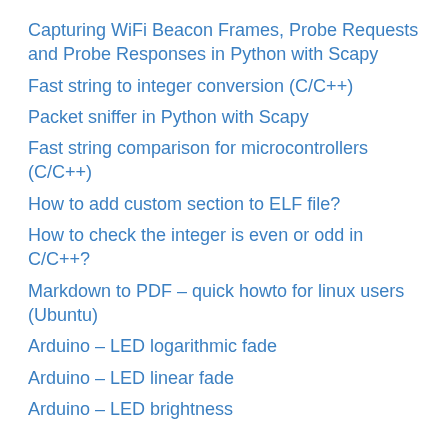Capturing WiFi Beacon Frames, Probe Requests and Probe Responses in Python with Scapy
Fast string to integer conversion (C/C++)
Packet sniffer in Python with Scapy
Fast string comparison for microcontrollers (C/C++)
How to add custom section to ELF file?
How to check the integer is even or odd in C/C++?
Markdown to PDF – quick howto for linux users (Ubuntu)
Arduino – LED logarithmic fade
Arduino – LED linear fade
Arduino – LED brightness
Categories